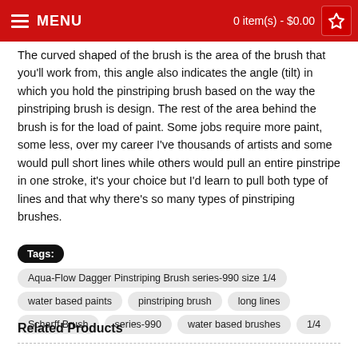MENU | 0 item(s) - $0.00
The curved shaped of the brush is the area of the brush that you'll work from, this angle also indicates the angle (tilt) in which you hold the pinstriping brush based on the way the pinstriping brush is design. The rest of the area behind the brush is for the load of paint. Some jobs require more paint, some less, over my career I've thousands of artists and some would pull short lines while others would pull an entire pinstripe in one stroke, it's your choice but I'd learn to pull both type of lines and that why there's so many types of pinstriping brushes.
Tags: Aqua-Flow Dagger Pinstriping Brush series-990 size 1/4
water based paints
pinstriping brush
long lines
Scharff Brush
series-990
water based brushes
1/4
Related Products